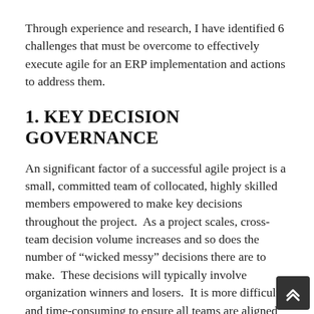Through experience and research, I have identified 6 challenges that must be overcome to effectively execute agile for an ERP implementation and actions to address them.
1. KEY DECISION GOVERNANCE
An significant factor of a successful agile project is a small, committed team of collocated, highly skilled members empowered to make key decisions throughout the project.  As a project scales, cross-team decision volume increases and so does the number of "wicked messy" decisions there are to make.  These decisions will typically involve organization winners and losers.  It is more difficult and time-consuming to ensure all teams are aligned when there are more teams and consequences involved.